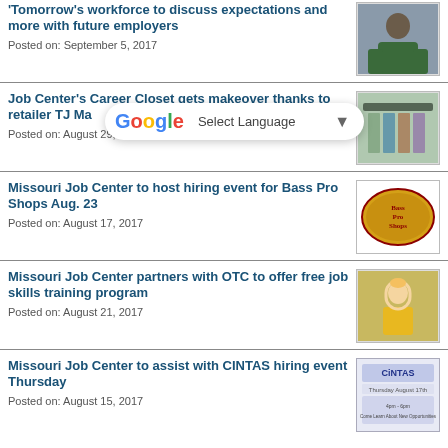Tomorrow's workforce to discuss expectations and more with future employers
Posted on: September 5, 2017
[Figure (photo): Person at a table, possibly in a meeting or classroom setting]
Job Center's Career Closet gets makeover thanks to retailer TJ Maxx
Posted on: August 29, 2017
[Figure (photo): Clothing rack or shelving unit]
Missouri Job Center to host hiring event for Bass Pro Shops Aug. 23
Posted on: August 17, 2017
[Figure (logo): Bass Pro Shops oval logo in yellow and green]
Missouri Job Center partners with OTC to offer free job skills training program
Posted on: August 21, 2017
[Figure (photo): Worker wearing yellow hard hat smiling]
Missouri Job Center to assist with CINTAS hiring event Thursday
Posted on: August 15, 2017
[Figure (screenshot): CINTAS hiring event flyer with event details Thursday August 17th]